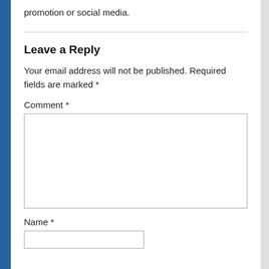promotion or social media.
Leave a Reply
Your email address will not be published. Required fields are marked *
Comment *
Name *